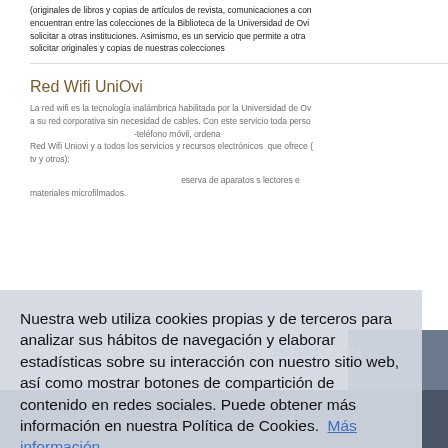(originales de libros y copias de artículos de revista, comunicaciones a con encuentran entre las colecciones de la Biblioteca de la Universidad de Ovi solicitar a otras instituciones. Asimismo, es un servicio que permite a otra solicitar originales y copias de nuestras colecciones
Red Wifi UniOvi
La red wifi es la tecnología inalámbrica habilitada por la Universidad de Ov a su red corporativa sin necesidad de cables. Con este servicio toda perso Red Wifi Uniovi y a todos los servicios y recursos electrónicos que ofrece ( tv y otros).
Nuestra web utiliza cookies propias y de terceros para analizar sus hábitos de navegación y elaborar estadísticas sobre su interacción con nuestro sitio web, así como mostrar botones de compartición de contenido en redes sociales. Puede obtener más información en nuestra Política de Cookies.  Más información
Rechazar
Aceptar